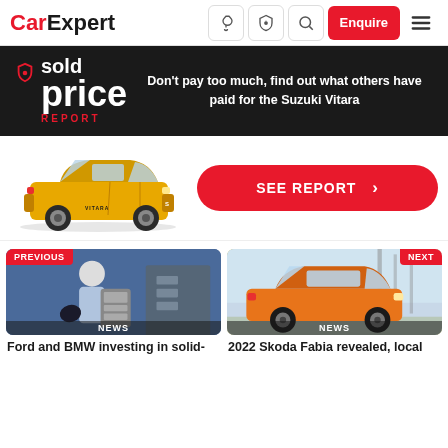CarExpert – Enquire
[Figure (screenshot): CarExpert website screenshot showing Sold Price Report banner for Suzuki Vitara, car image, SEE REPORT button, and two news article thumbnails for 'Ford and BMW investing in solid-state batteries' (previous) and '2022 Skoda Fabia revealed, local' (next)]
Don't pay too much, find out what others have paid for the Suzuki Vitara
SEE REPORT >
PREVIOUS NEWS – Ford and BMW investing in solid-
NEXT NEWS – 2022 Skoda Fabia revealed, local